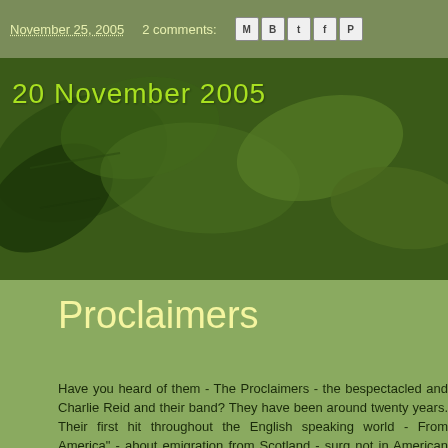November 25, 2005   2 comments:
20 November 2005
[Figure (photo): Green leaf background photograph with dark green foliage]
Proclaimers
Have you heard of them - The Proclaimers - the bespectacled and Charlie Reid and their band? They have been around twenty years. Their first hit throughout the English speaking world - "Letter From America" - about emigration from Scotland - sung not in American drawl but in the accent of eastern Scotland. The towns mentioned in the song - are grim coastal communities, grim places that would be hard to regret leaving.
About five years ago, the soundtrack of the first "Shrek" featured the Proclaimers' "I'm On My Way" which gave the band a much needed lift. They're now on an extensive UK tour and ... Wheel concert hall in Chesterfield, Derbyshire. Great litt...